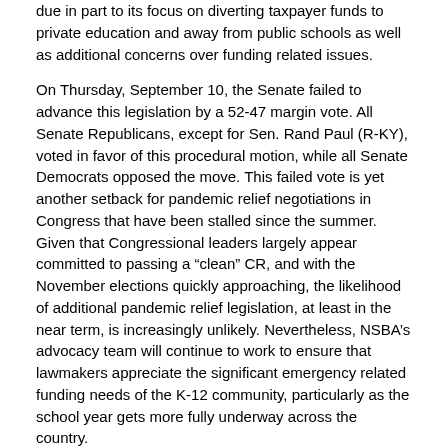due in part to its focus on diverting taxpayer funds to private education and away from public schools as well as additional concerns over funding related issues.
On Thursday, September 10, the Senate failed to advance this legislation by a 52-47 margin vote. All Senate Republicans, except for Sen. Rand Paul (R-KY), voted in favor of this procedural motion, while all Senate Democrats opposed the move. This failed vote is yet another setback for pandemic relief negotiations in Congress that have been stalled since the summer. Given that Congressional leaders largely appear committed to passing a “clean” CR, and with the November elections quickly approaching, the likelihood of additional pandemic relief legislation, at least in the near term, is increasingly unlikely. Nevertheless, NSBA’s advocacy team will continue to work to ensure that lawmakers appreciate the significant emergency related funding needs of the K-12 community, particularly as the school year gets more fully underway across the country.
Administration Update
USED Scraps Proposed Equitable Services Rule
Late last Friday, September 4, a U.S. District court struck down a proposed interim final rule from the U.S Department of Education (USED) that aimed to shift a greater share of CARES Act resources to non-public K-12 schools. This week, USED confirmed that, in light of this ruling, this proposed rule is no longer in effect. Earlier this summer, NSBA strongly challenged this proposed interim rule and applauds the court decision and USED’s reversal on this issue.